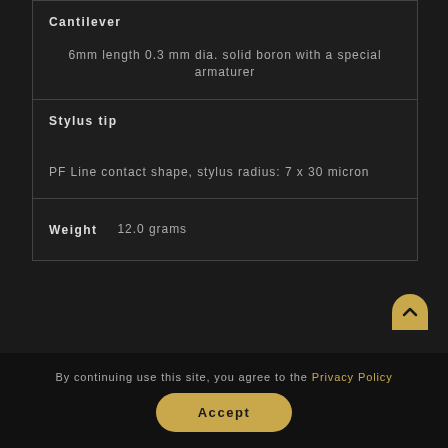| Specification | Value |
| --- | --- |
| Cantilever | 6mm length 0.3 mm dia. solid boron with a special armaturer |
| Stylus tip | PF Line contact shape, stylus radius: 7 x 30 micron |
| Weight | 12.0 grams |
By continuing use this site, you agree to the Privacy Policy
Accept